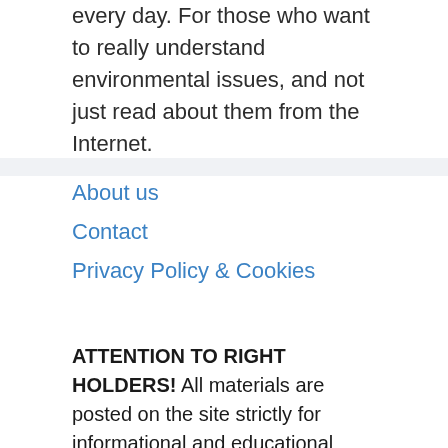every day. For those who want to really understand environmental issues, and not just read about them from the Internet.
About us
Contact
Privacy Policy & Cookies
ATTENTION TO RIGHT HOLDERS! All materials are posted on the site strictly for informational and educational purposes! If you believe that the posting of any material infringes your copyright, be sure to contact us through the contact form and your material will be removed!